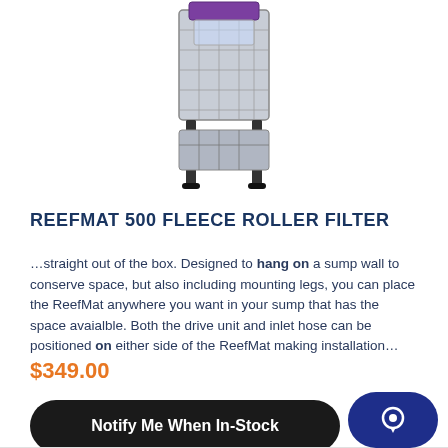[Figure (photo): Product photo of the ReefMat 500 Fleece Roller Filter — a tall aquarium filter unit with black metal legs and a clear/grey housing, photographed on a white background.]
REEFMAT 500 FLEECE ROLLER FILTER
…straight out of the box. Designed to hang on a sump wall to conserve space, but also including mounting legs, you can place the ReefMat anywhere you want in your sump that has the space avaialble. Both the drive unit and inlet hose can be positioned on either side of the ReefMat making installation…
$349.00
Notify Me When In-Stock